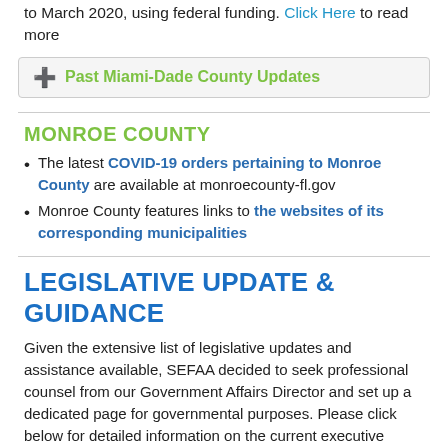to March 2020, using federal funding. Click Here to read more
Past Miami-Dade County Updates
MONROE COUNTY
The latest COVID-19 orders pertaining to Monroe County are available at monroecounty-fl.gov
Monroe County features links to the websites of its corresponding municipalities
LEGISLATIVE UPDATE & GUIDANCE
Given the extensive list of legislative updates and assistance available, SEFAA decided to seek professional counsel from our Government Affairs Director and set up a dedicated page for governmental purposes. Please click below for detailed information on the current executive